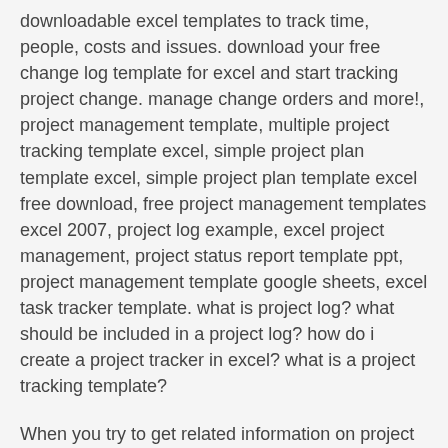downloadable excel templates to track time, people, costs and issues. download your free change log template for excel and start tracking project change. manage change orders and more!, project management template, multiple project tracking template excel, simple project plan template excel, simple project plan template excel free download, free project management templates excel 2007, project log example, excel project management, project status report template ppt, project management template google sheets, excel task tracker template. what is project log? what should be included in a project log? how do i create a project tracker in excel? what is a project tracking template?
When you try to get related information on project log template, you may look for related areas. project log template word, project log template excel, project management excel template free, free project log template, project management template, multiple project tracking template excel,